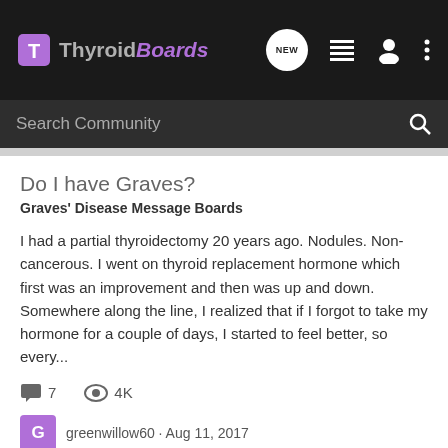ThyroidBoards
Do I have Graves?
Graves' Disease Message Boards
I had a partial thyroidectomy 20 years ago. Nodules. Non-cancerous. I went on thyroid replacement hormone which first was an improvement and then was up and down. Somewhere along the line, I realized that if I forgot to take my hormone for a couple of days, I started to feel better, so every...
7 comments  4K views
greenwillow60 · Aug 11, 2017
symptoms
New and Confused